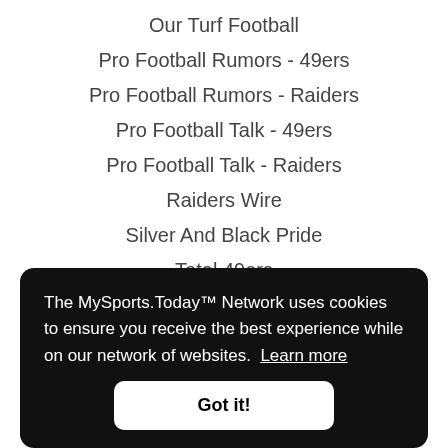Our Turf Football
Pro Football Rumors - 49ers
Pro Football Rumors - Raiders
Pro Football Talk - 49ers
Pro Football Talk - Raiders
Raiders Wire
Silver And Black Pride
Total 49ers
Hockey
The MySports.Today™ Network uses cookies to ensure you receive the best experience while on our network of websites. Learn more
Got it!